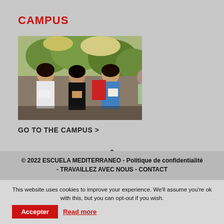CAMPUS
[Figure (photo): Three young women outdoors on a campus, looking at documents, with a crowd in the background and trees.]
GO TO THE CAMPUS >
© 2022 ESCUELA MEDITERRANEO - Politique de confidentialité - TRAVAILLEZ AVEC NOUS - CONTACT
This website uses cookies to improve your experience. We'll assume you're ok with this, but you can opt-out if you wish. Accepter Read more